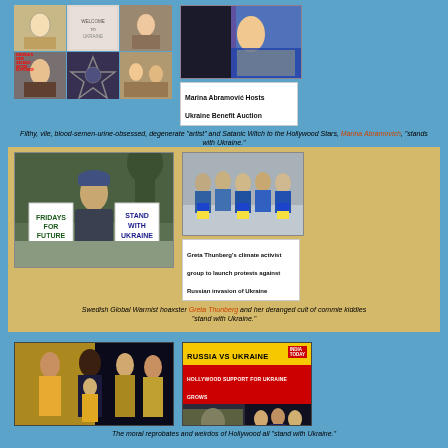[Figure (photo): Collage of images related to Marina Abramovic and Ukraine benefit auction, with occult imagery]
[Figure (photo): Marina Abramovic performing on stage in blue and yellow Ukraine colors]
Marina Abramović Hosts Ukraine Benefit Auction
Filthy, vile, blood-semen-urine-obsessed, degenerate "artist" and Satanic Witch to the Hollywood Stars, Marina Abramovich, "stands with Ukraine."
[Figure (photo): Greta Thunberg holding Fridays for Future and Stand with Ukraine signs]
[Figure (photo): Group of climate activists holding Ukrainian flags]
Greta Thunberg's climate activist group to launch protests against Russian invasion of Ukraine
Swedish Global Warmist hoaxster Greta Thunberg and her deranged cult of commie kiddies "stand with Ukraine."
[Figure (photo): Hollywood celebrities at awards show in yellow and blue outfits]
[Figure (photo): India Today news segment: Russia vs Ukraine - Hollywood support for Ukraine grows]
The moral reprobates and weirdos of Hollywood all "stand with Ukraine."